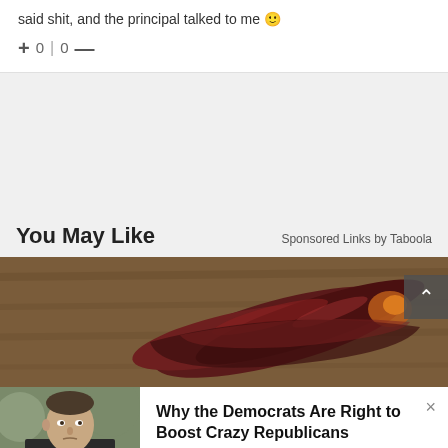said shit, and the principal talked to me 🙂
+ 0 | 0 —
You May Like
Sponsored Links by Taboola
[Figure (photo): Close-up photo of dried red chili peppers on a wooden surface]
[Figure (photo): Photo of a man in a suit, partially visible, resembling a political figure]
Why the Democrats Are Right to Boost Crazy Republicans